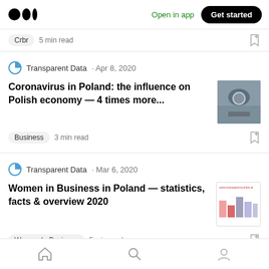Medium logo | Open in app | Get started
Crbr  5 min read
Transparent Data · Apr 8, 2020
Coronavirus in Poland: the influence on Polish economy — 4 times more...
Business  3 min read
Transparent Data · Mar 6, 2020
Women in Business in Poland — statistics, facts & overview 2020
Women In Business  5 min read